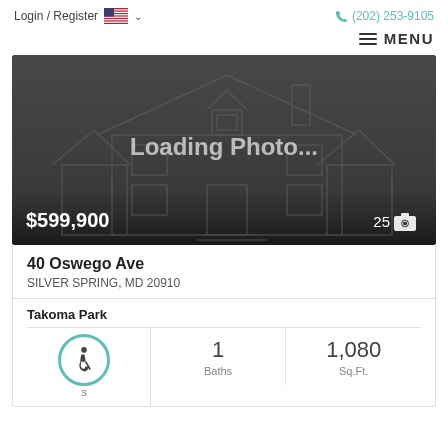Login / Register  (202) 253-9105
MENU
[Figure (photo): Dark grey placeholder image with a light house outline sketch and 'Loading Photo...' text in the center. Price $599,900 shown bottom-left, photo count '25' with camera icon bottom-right.]
40 Oswego Ave
SILVER SPRING, MD 20910
Takoma Park
1
Baths
1,080
Sq.Ft.